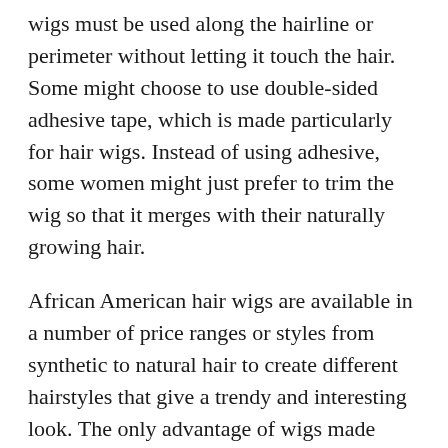wigs must be used along the hairline or perimeter without letting it touch the hair. Some might choose to use double-sided adhesive tape, which is made particularly for hair wigs. Instead of using adhesive, some women might just prefer to trim the wig so that it merges with their naturally growing hair.
African American hair wigs are available in a number of price ranges or styles from synthetic to natural hair to create different hairstyles that give a trendy and interesting look. The only advantage of wigs made using synthetic hairs is it is cheaper. But it will look artificial, and it will get tangled easily. So human hair wigs or extensions are always good even it priced higher. When you fix the wigs, you have to be careful about the attachment that can be visible, and you need